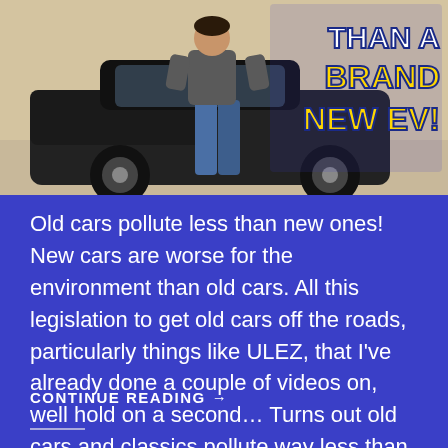[Figure (photo): Photo of a person standing next to a dark/black old car with bold yellow and white text overlay reading 'THAN A BRAND NEW EV!' on the right side of the image]
Old cars pollute less than new ones! New cars are worse for the environment than old cars. All this legislation to get old cars off the roads, particularly things like ULEZ, that I've already done a couple of videos on, well hold on a second… Turns out old cars and classics pollute way less than brand new ones – even electric cars!
CONTINUE READING →